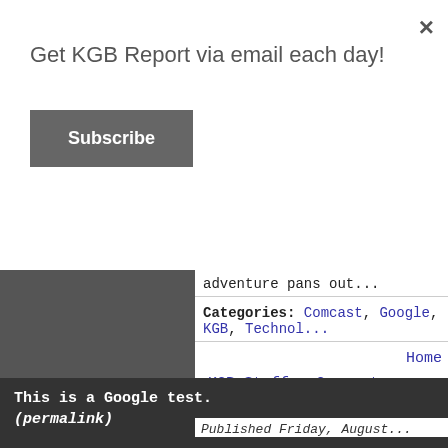Get KGB Report via email each day!
Subscribe
adventure pans out...
Categories: Comcast, Google, KGB, Technol...
Home
KGB Stuff   Commentwear...
Donate via Pay...
Older entries, Archives and Categ...
This is a Google test. (permalink)
Published Friday, August...